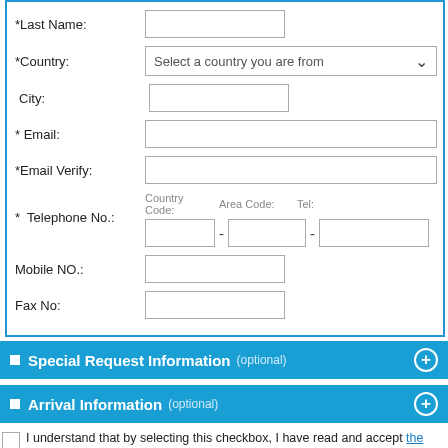[Figure (screenshot): A hotel/travel booking web form screenshot showing fields: Last Name, Country (dropdown 'Select a country you are from'), City, Email, Email Verify, Telephone No. (Country Code, Area Code, Tel), Mobile NO., Fax No. Below the form are two collapsible sections: 'Special Request Information (optional)' and 'Arrival Information (optional)', each with a blue header bar and plus button. A terms checkbox and orange Submit button are at the bottom.]